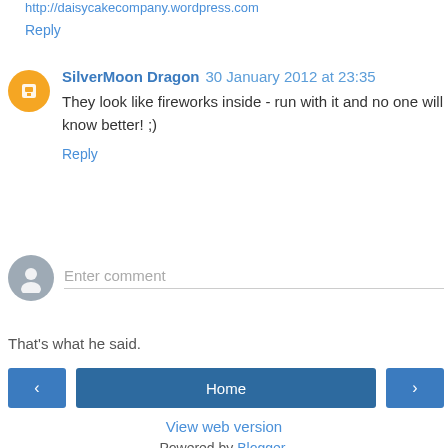http://daisycakecompany.wordpress.com
Reply
SilverMoon Dragon 30 January 2012 at 23:35
They look like fireworks inside - run with it and no one will know better! ;)
Reply
Enter comment
That's what he said.
Home
View web version
Powered by Blogger.